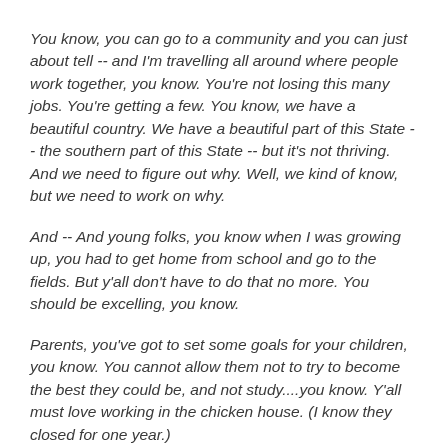You know, you can go to a community and you can just about tell -- and I'm travelling all around where people work together, you know. You're not losing this many jobs. You're getting a few. You know, we have a beautiful country. We have a beautiful part of this State -- the southern part of this State -- but it's not thriving. And we need to figure out why. Well, we kind of know, but we need to work on why.
And -- And young folks, you know when I was growing up, you had to get home from school and go to the fields. But y'all don't have to do that no more. You should be excelling, you know.
Parents, you've got to set some goals for your children, you know. You cannot allow them not to try to become the best they could be, and not study....you know. Y'all must love working in the chicken house. (I know they closed for one year.)
But change has to start with us and...somehow we've got to make the other side of town work with us. We've got to make